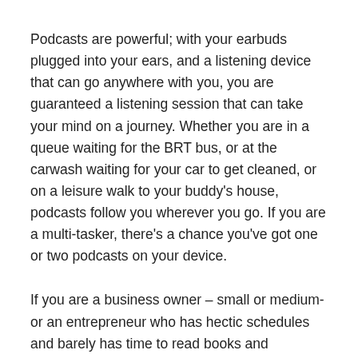Podcasts are powerful; with your earbuds plugged into your ears, and a listening device that can go anywhere with you, you are guaranteed a listening session that can take your mind on a journey. Whether you are in a queue waiting for the BRT bus, or at the carwash waiting for your car to get cleaned, or on a leisure walk to your buddy's house, podcasts follow you wherever you go. If you are a multi-tasker, there's a chance you've got one or two podcasts on your device.
If you are a business owner – small or medium- or an entrepreneur who has hectic schedules and barely has time to read books and materials needed to help you thrive in your business, we recommend listening to business podcasts.
There's a countless list of podcasts out there, below are our top 6 business podcasts that'll improve your business and make you succeed in it this year, trust me, they are worth your listening